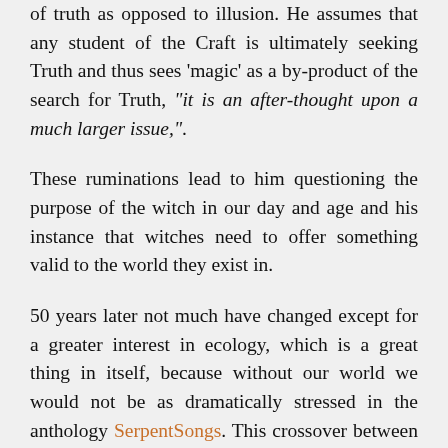of truth as opposed to illusion. He assumes that any student of the Craft is ultimately seeking Truth and thus sees 'magic' as a by-product of the search for Truth, "it is an after-thought upon a much larger issue,".
These ruminations lead to him questioning the purpose of the witch in our day and age and his instance that witches need to offer something valid to the world they exist in.
50 years later not much have changed except for a greater interest in ecology, which is a great thing in itself, because without our world we would not be as dramatically stressed in the anthology SerpentSongs. This crossover between witchcraft and ecology is important